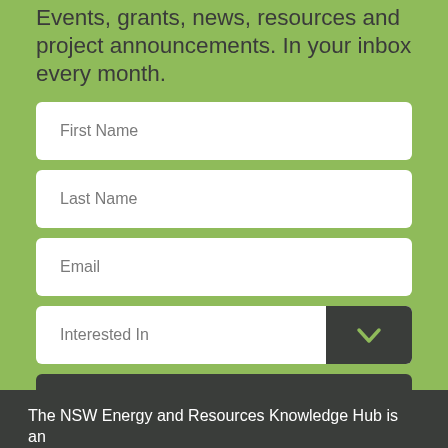Events, grants, news, resources and project announcements. In your inbox every month.
First Name
Last Name
Email
Interested In
SUBSCRIBE
The NSW Energy and Resources Knowledge Hub is an